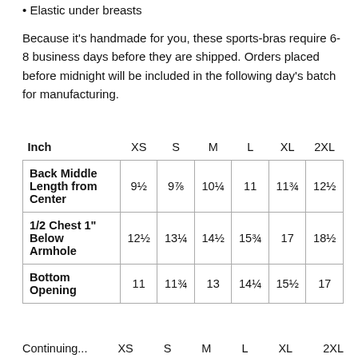• Elastic under breasts
Because it's handmade for you, these sports-bras require 6-8 business days before they are shipped. Orders placed before midnight will be included in the following day's batch for manufacturing.
| Inch | XS | S | M | L | XL | 2XL |
| --- | --- | --- | --- | --- | --- | --- |
| Back Middle Length from Center | 9½ | 9⅞ | 10¼ | 11 | 11¾ | 12½ |
| 1/2 Chest 1" Below Armhole | 12½ | 13¼ | 14½ | 15¾ | 17 | 18½ |
| Bottom Opening | 11 | 11¾ | 13 | 14¼ | 15½ | 17 |
Continuing... XS  S  M  L  XL  2XL